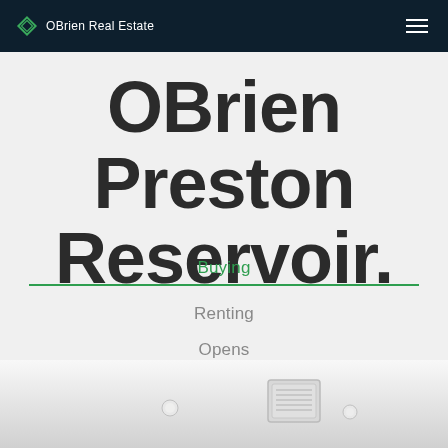OBrien Real Estate
OBrien Preston Reservoir.
Buying
Renting
Opens
Leased
Sold
[Figure (photo): Interior ceiling photo showing recessed lighting and an air vent/exhaust fan on a white ceiling]